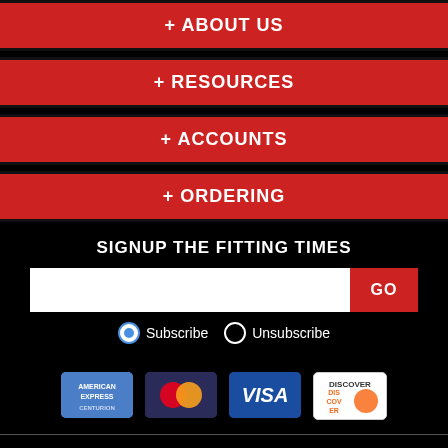+ ABOUT US
+ RESOURCES
+ ACCOUNTS
+ ORDERING
SIGNUP THE FITTING TIMES
Subscribe  Unsubscribe
[Figure (other): Payment method logos: American Express, Mastercard, Visa, Discover]
Copyright 2022 Installation Parts Supply. All Rights Reserved.